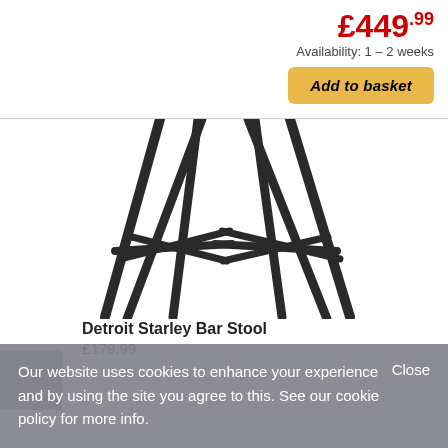£449.99
Availability: 1 – 2 weeks
Add to basket
[Figure (photo): Bar stool legs and footrest structure viewed from below, dark metal frame on white background]
Detroit Starley Bar Stool
£179.99
Our website uses cookies to enhance your experience and by using the site you agree to this. See our cookie policy for more info.